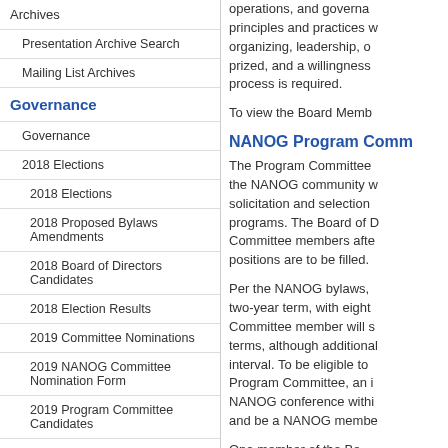Archives
Presentation Archive Search
Mailing List Archives
Governance
Governance
2018 Elections
2018 Elections
2018 Proposed Bylaws Amendments
2018 Board of Directors Candidates
2018 Election Results
2019 Committee Nominations
2019 NANOG Committee Nomination Form
2019 Program Committee Candidates
Board of Directors
Board of Directors
Member Responsibilities
Minutes 2019
Minutes 2018
Minutes 2016
operations, and governance principles and practices with organizing, leadership, or prized, and a willingness process is required.
To view the Board Memb...
NANOG Program Comm...
The Program Committee the NANOG community w solicitation and selection programs. The Board of D Committee members after positions are to be filled.
Per the NANOG bylaws, two-year term, with eight Committee member will s terms, although additional interval. To be eligible to Program Committee, an i NANOG conference withi and be a NANOG membe
One member of the Bo...